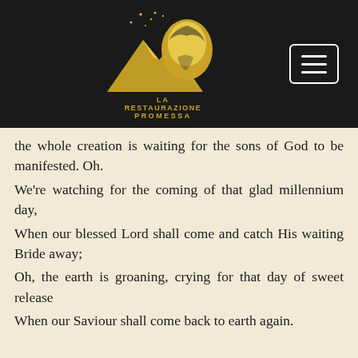[Figure (logo): La Restaurazione Promessa logo — gold mountain/eagle silhouette with stars on dark background, with hamburger menu button top right]
the whole creation is waiting for the sons of God to be manifested. Oh.
We're watching for the coming of that glad millennium day,
When our blessed Lord shall come and catch His waiting Bride away;
Oh, the earth is groaning, crying for that day of sweet release
When our Saviour shall come back to earth again.
159 Is that right? Waiting, God trying to place His church in position to manifest Hisself, getting one that He can work through like this, say, "There's My Spirit flowing freely, There It is. That, that, I--I--I can work here. Get another one over here and place him, 'I can place him,'"